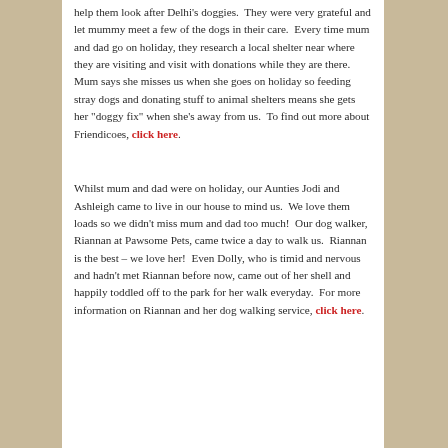help them look after Delhi's doggies.  They were very grateful and let mummy meet a few of the dogs in their care.  Every time mum and dad go on holiday, they research a local shelter near where they are visiting and visit with donations while they are there.  Mum says she misses us when she goes on holiday so feeding stray dogs and donating stuff to animal shelters means she gets her "doggy fix" when she's away from us.  To find out more about Friendicoes, click here.
Whilst mum and dad were on holiday, our Aunties Jodi and Ashleigh came to live in our house to mind us.  We love them loads so we didn't miss mum and dad too much!  Our dog walker, Riannan at Pawsome Pets, came twice a day to walk us.  Riannan is the best – we love her!  Even Dolly, who is timid and nervous and hadn't met Riannan before now, came out of her shell and happily toddled off to the park for her walk everyday.  For more information on Riannan and her dog walking service, click here.